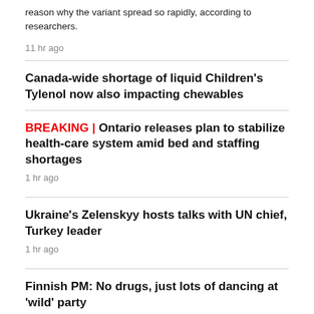reason why the variant spread so rapidly, according to researchers.
11 hr ago
Canada-wide shortage of liquid Children's Tylenol now also impacting chewables
BREAKING | Ontario releases plan to stabilize health-care system amid bed and staffing shortages
1 hr ago
Ukraine's Zelenskyy hosts talks with UN chief, Turkey leader
1 hr ago
Finnish PM: No drugs, just lots of dancing at 'wild' party